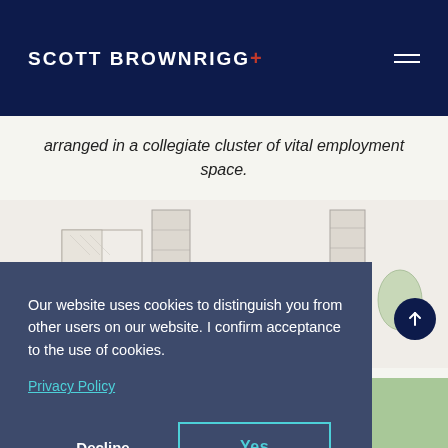SCOTT BROWNRIGG+
arranged in a collegiate cluster of vital employment space.
[Figure (illustration): Architectural sketches and drawings of buildings, partially visible behind cookie consent overlay]
Our website uses cookies to distinguish you from other users on our website. I confirm acceptance to the use of cookies.
Privacy Policy
Decline
Yes
[Figure (illustration): Aerial site plan with green landscaping visible at bottom of page]